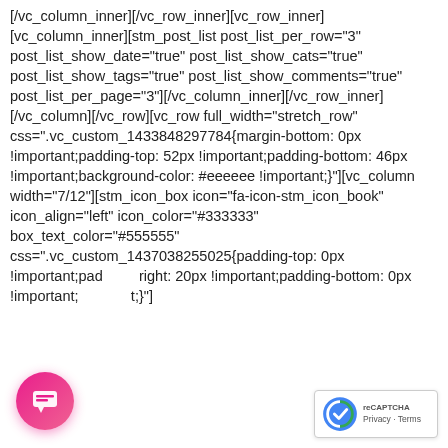[/vc_column_inner][/vc_row_inner][vc_row_inner][vc_column_inner][stm_post_list post_list_per_row="3" post_list_show_date="true" post_list_show_cats="true" post_list_show_tags="true" post_list_show_comments="true" post_list_per_page="3"][/vc_column_inner][/vc_row_inner][/vc_column][/vc_row][vc_row full_width="stretch_row" css=".vc_custom_1433848297784{margin-bottom: 0px !important;padding-top: 52px !important;padding-bottom: 46px !important;background-color: #eeeeee !important;}"][vc_column width="7/12"][stm_icon_box icon="fa-icon-stm_icon_book" icon_align="left" icon_color="#333333" box_text_color="#555555" css=".vc_custom_1437038255025{padding-top: 0px !important;padding-right: 20px !important;padding-bottom: 0px !important;}
[Figure (screenshot): Chat popup overlay showing S6 logo, close button (×), and text 'Got any questions? I'm happy to help.']
newsletter with educational materials, new courses, interesting posts, popular books and much more![/stm_icon_box][/vc_column][vc_column width="5/12"][stm_mailchimp title="Your e-mail address"][/vc_column][/vc_row][vc_row full_width="stretch_row" css=".vc_custom_1433853927195{margin-bottom: 0px !important;padding-top: 30px !important;padding-bottom: 55px
[Figure (screenshot): reCAPTCHA Privacy-Terms badge (bottom right)]
[Figure (screenshot): Pink circular chat button (bottom left)]